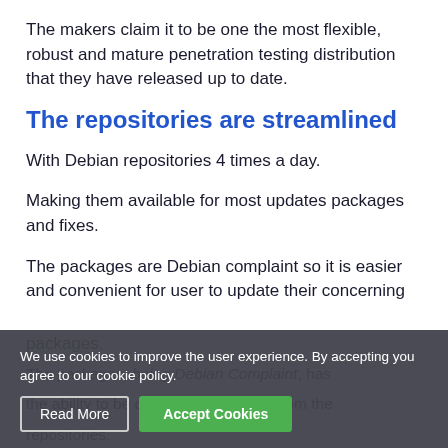The makers claim it to be one the most flexible, robust and mature penetration testing distribution that they have released up to date.
The repositories are streamlined
With Debian repositories 4 times a day.
Making them available for most updates packages and fixes.
The packages are Debian complaint so it is easier and convenient for user to update their concerning packages.
The packages, being Debian Complaint, has the ability to be downloaded directly from the repositories.
We use cookies to improve the user experience. By accepting you agree to our cookie policy.